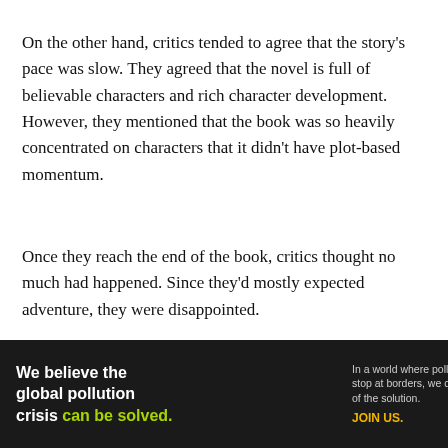On the other hand, critics tended to agree that the story's pace was slow. They agreed that the novel is full of believable characters and rich character development. However, they mentioned that the book was so heavily concentrated on characters that it didn't have plot-based momentum.
Once they reach the end of the book, critics thought no much had happened. Since they'd mostly expected adventure, they were disappointed.
The Dragonbone Chair by Tad
[Figure (other): Advertisement banner for Pure Earth: 'We believe the global pollution crisis can be solved.' with tagline 'In a world where pollution doesn't stop at borders, we can all be part of the solution. JOIN US.' and Pure Earth logo.]